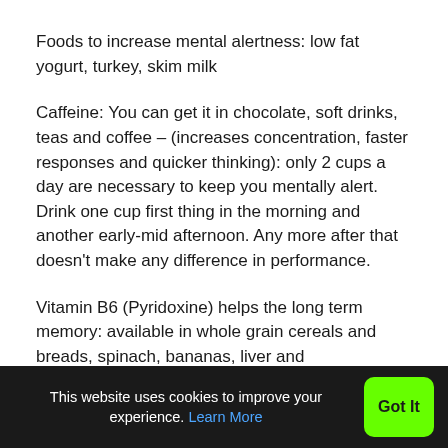Foods to increase mental alertness: low fat yogurt, turkey, skim milk
Caffeine: You can get it in chocolate, soft drinks, teas and coffee – (increases concentration, faster responses and quicker thinking): only 2 cups a day are necessary to keep you mentally alert. Drink one cup first thing in the morning and another early-mid afternoon. Any more after that doesn't make any difference in performance.
Vitamin B6 (Pyridoxine) helps the long term memory: available in whole grain cereals and breads, spinach, bananas, liver and
This website uses cookies to improve your experience. Learn More  Got It